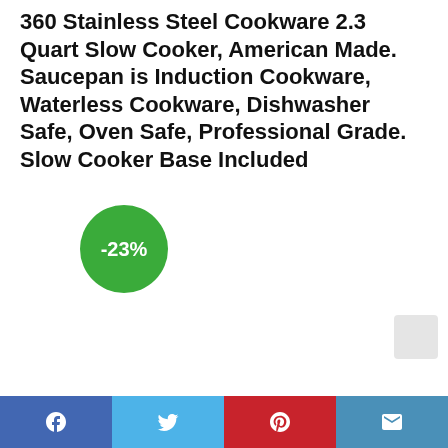360 Stainless Steel Cookware 2.3 Quart Slow Cooker, American Made. Saucepan is Induction Cookware, Waterless Cookware, Dishwasher Safe, Oven Safe, Professional Grade. Slow Cooker Base Included
[Figure (infographic): Green circular discount badge showing -23%]
Social share buttons: Facebook, Twitter, Pinterest, Email